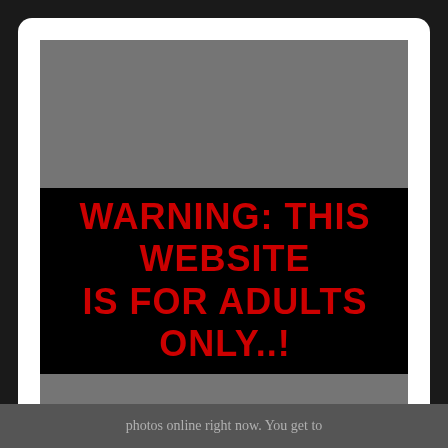WARNING: THIS WEBSITE IS FOR ADULTS ONLY..!
This Website contains and displays sexually explicit content, including images, videos, sounds, text, and links. Please leave the Website immediately if: (a) you are less than 18-years old or the age of majority where you will or may view the content; (b) any portion of the content offends you; or (c)
photos online right now. You get to